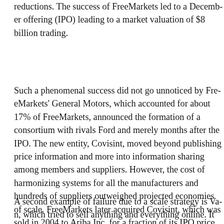reductions. The success of FreeMarkets led to a December offering (IPO) leading to a market valuation of $8 billion trading.
Such a phenomenal success did not go unnoticed by General Motors, which accounted for about 17% of FreeMarkets announced the formation of a consortium with rivals merely months after the IPO. The new entity, Covisint, publishing price information and more into information members and suppliers. However, the cost of harmonizing all the manufacturers and hundreds of suppliers outweighed economies of scale. FreeMarkets later acquired Covisint was sold in 2004 to Ariba Inc. for a fraction of its IPO price.
A second example of failure due to a scale strategy is Webvan, tried to sell anything and everything online. It was founded